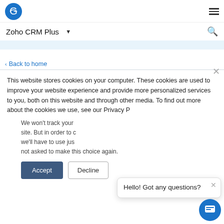Zoho CRM Plus
Back to home
This website stores cookies on your computer. These cookies are used to improve your website experience and provide more personalized services to you, both on this website and through other media. To find out more about the cookies we use, see our Privacy P
We won't track your site. But in order to c we'll have to use jus not asked to make this choice again.
Hello! Got any questions?